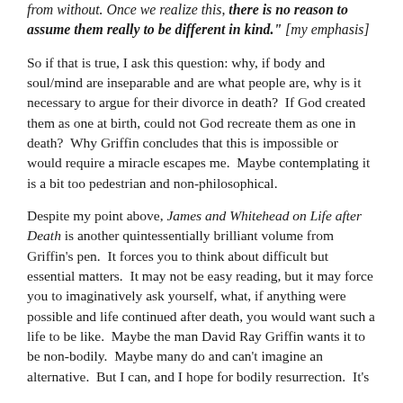from without. Once we realize this, there is no reason to assume them really to be different in kind." [my emphasis]
So if that is true, I ask this question: why, if body and soul/mind are inseparable and are what people are, why is it necessary to argue for their divorce in death?  If God created them as one at birth, could not God recreate them as one in death?  Why Griffin concludes that this is impossible or would require a miracle escapes me.  Maybe contemplating it is a bit too pedestrian and non-philosophical.
Despite my point above, James and Whitehead on Life after Death is another quintessentially brilliant volume from Griffin's pen.  It forces you to think about difficult but essential matters.  It may not be easy reading, but it may force you to imaginatively ask yourself, what, if anything were possible and life continued after death, you would want such a life to be like.  Maybe the man David Ray Griffin wants it to be non-bodily.  Maybe many do and can't imagine an alternative.  But I can, and I hope for bodily resurrection.  It's